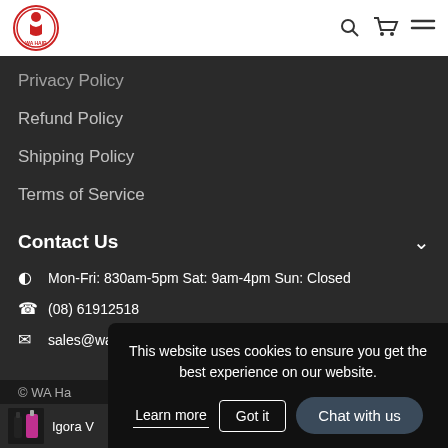[Figure (logo): WA Hair logo — circular red and white emblem with stylized figure and text WA HAIR]
Privacy Policy
Refund Policy
Shipping Policy
Terms of Service
Contact Us
Mon-Fri: 830am-5pm Sat: 9am-4pm Sun: Closed
(08) 61912518
sales@wahairsuppliers.com.au
© WA Ha
This website uses cookies to ensure you get the best experience on our website.
Learn more  Got it  Chat with us